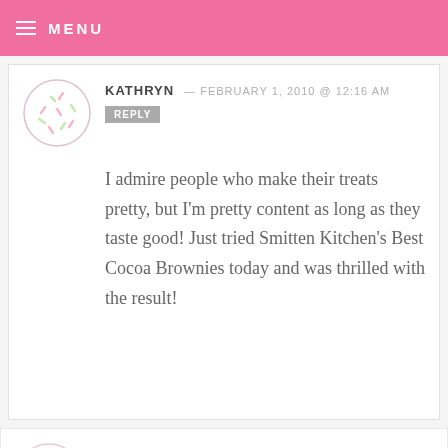MENU
KATHRYN — FEBRUARY 1, 2010 @ 12:16 AM
REPLY

I admire people who make their treats pretty, but I'm pretty content as long as they taste good! Just tried Smitten Kitchen's Best Cocoa Brownies today and was thrilled with the result!
MELANIE — FEBRUARY 1, 2010 @ 12:16 AM   REPLY

I enjoy making sweets look pretty. But